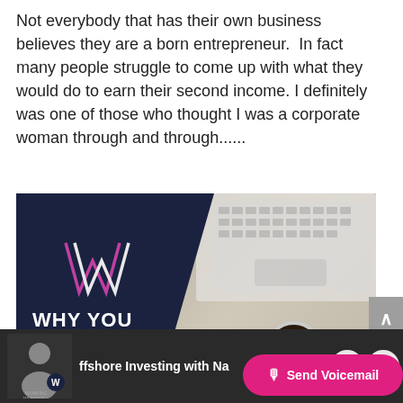Not everybody that has their own business believes they are a born entrepreneur.  In fact many people struggle to come up with what they would do to earn their second income. I definitely was one of those who thought I was a corporate woman through and through......
[Figure (photo): Promotional image for 'Why You Need a Second Income' with a dark navy diagonal overlay showing a 'W' logo in pink/white on the left, and a desk scene on the right showing a laptop keyboard, pen, coffee cup, and phone. Bold white text reads 'WHY YOU NEED A SECOND INCOME'.]
ffshore Investing with Na... | Send Voicemail